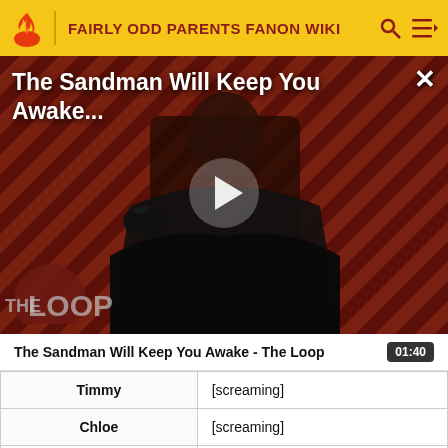FAIRLY ODD PARENTS FANON WIKI
[Figure (screenshot): Video thumbnail showing a dark-cloaked figure (The Sandman) against a red and black diagonal striped background with 'THE LOOP' logo in the lower left. A play button is overlaid in the center. Title text reads 'The Sandman Will Keep You Awake...' in white at the top.]
The Sandman Will Keep You Awake - The Loop
| Timmy | [screaming] |
| Chloe | [screaming] |
|  | [screaming] |